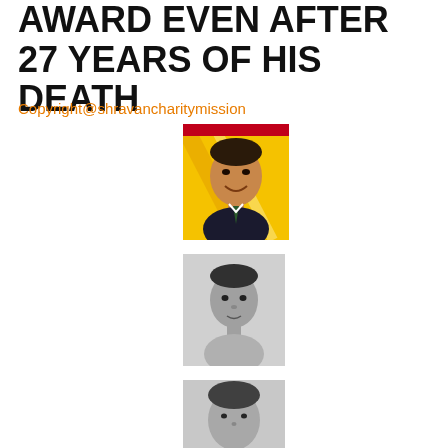AWARD EVEN AFTER 27 YEARS OF HIS DEATH
Copyright@shravancharitymission
[Figure (photo): Colorized portrait photo of a man in a suit, smiling, with yellow striped background]
[Figure (photo): Black and white photo of a young boy]
[Figure (photo): Black and white photo of a man, partially visible]